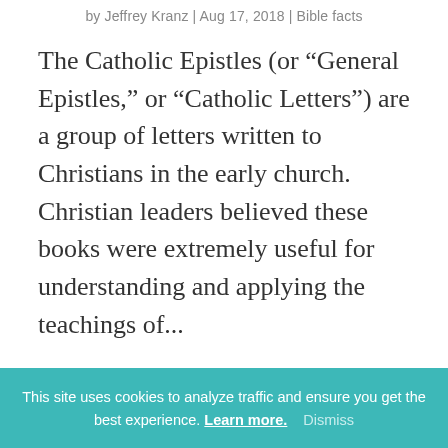by Jeffrey Kranz | Aug 17, 2018 | Bible facts
The Catholic Epistles (or “General Epistles,” or “Catholic Letters”) are a group of letters written to Christians in the early church. Christian leaders believed these books were extremely useful for understanding and applying the teachings of…
This site uses cookies to analyze traffic and ensure you get the best experience. Learn more. Dismiss